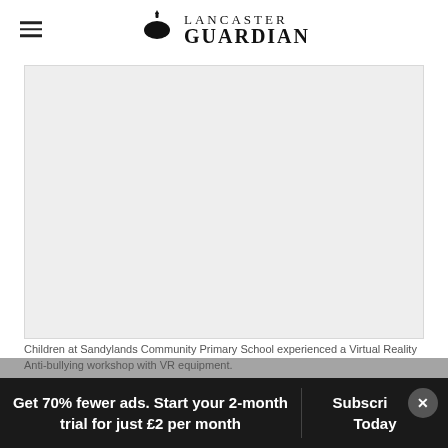Lancaster Guardian
[Figure (photo): Photograph placeholder — children at Sandylands Community Primary School experiencing a Virtual Reality Anti-bullying workshop with VR equipment.]
Children at Sandylands Community Primary School experienced a Virtual Reality Anti-bullying workshop with VR equipment.
They also watched a live lesson and complete...
Get 70% fewer ads. Start your 2-month trial for just £2 per month
Subscribe Today